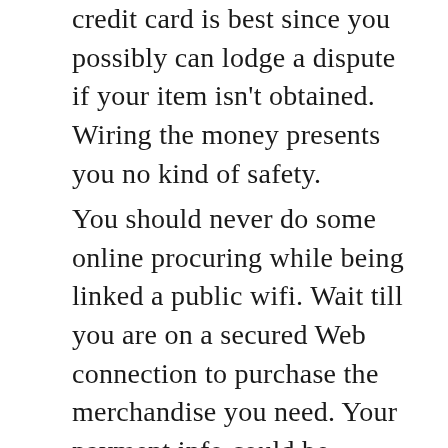credit card is best since you possibly can lodge a dispute if your item isn't obtained. Wiring the money presents you no kind of safety.
You should never do some online procuring while being linked a public wifi. Wait till you are on a secured Web connection to purchase the merchandise you need. Your payment info could be accessed by a third get together when you purchase a product whereas being connected to a public community.